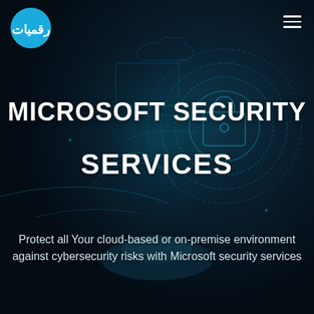[Figure (illustration): Dark cybersecurity themed background with digital lock, circuit patterns, fingerprint scan, and a hand holding glowing tech elements. Deep teal and dark blue tones.]
MICROSOFT SECURITY SERVICES
Protect all Your cloud-based or on-premise environment against cybersecurity risks with Microsoft security services